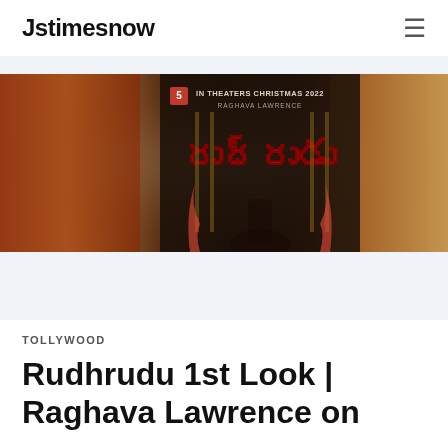Jstimesnow
[Figure (photo): Movie poster for Rudhrudu featuring Raghava Lawrence, showing Telugu title text in red with 'IN THEATERS CHRISTMAS 2022' text and a figure in background]
TOLLYWOOD
Rudhrudu 1st Look | Raghava Lawrence on